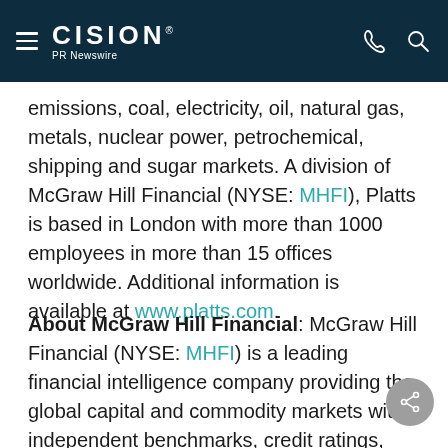CISION PR Newswire
emissions, coal, electricity, oil, natural gas, metals, nuclear power, petrochemical, shipping and sugar markets. A division of McGraw Hill Financial (NYSE: MHFI), Platts is based in London with more than 1000 employees in more than 15 offices worldwide. Additional information is available at www.platts.com.
About McGraw Hill Financial: McGraw Hill Financial (NYSE: MHFI) is a leading financial intelligence company providing the global capital and commodity markets with independent benchmarks, credit ratings, portfolio and enterprise risk solutions and analytics. The Company's iconic brands include